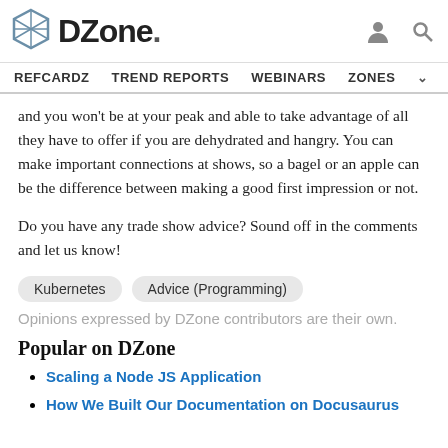DZone. REFCARDZ TREND REPORTS WEBINARS ZONES
and you won't be at your peak and able to take advantage of all they have to offer if you are dehydrated and hangry. You can make important connections at shows, so a bagel or an apple can be the difference between making a good first impression or not.
Do you have any trade show advice? Sound off in the comments and let us know!
Kubernetes  Advice (Programming)
Opinions expressed by DZone contributors are their own.
Popular on DZone
Scaling a Node JS Application
How We Built Our Documentation on Docusaurus